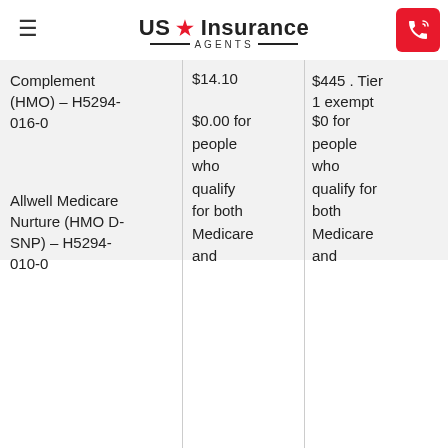US Insurance AGENTS
| Plan | Premium | Drug Deductible |
| --- | --- | --- |
| Complement (HMO) – H5294-016-0 | $14.10 | $445 . Tier 1 exempt |
| Allwell Medicare Nurture (HMO D-SNP) – H5294-010-0 | $0.00 for people who qualify for both Medicare and | $0 for people who qualify for both Medicare and |